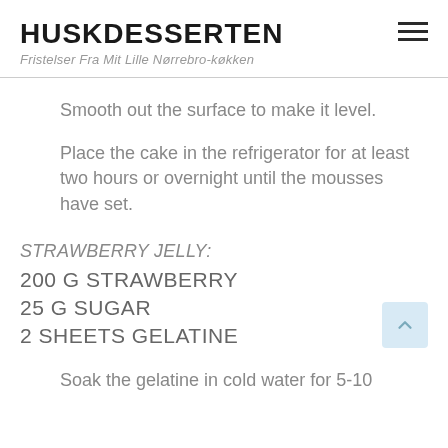HUSKDESSERTEN
Fristelser Fra Mit Lille Nørrebro-køkken
Smooth out the surface to make it level.
Place the cake in the refrigerator for at least two hours or overnight until the mousses have set.
STRAWBERRY JELLY:
200 G STRAWBERRY
25 G SUGAR
2 SHEETS GELATINE
Soak the gelatine in cold water for 5-10